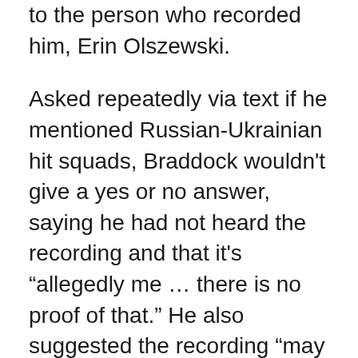to the person who recorded him, Erin Olszewski.
Asked repeatedly via text if he mentioned Russian-Ukrainian hit squads, Braddock wouldn't give a yes or no answer, saying he had not heard the recording and that it's “allegedly me … there is no proof of that.” He also suggested the recording “may even be altered and edited.”
“This is a dirty political tactic that has caused a lot of people a lot of stress and is completely unnecessary,” he said.
Olszewski denied editing or altering the recording. She said she made it because she was concerned about Braddock’s “unhinged” dislike of Luna that he had previously...